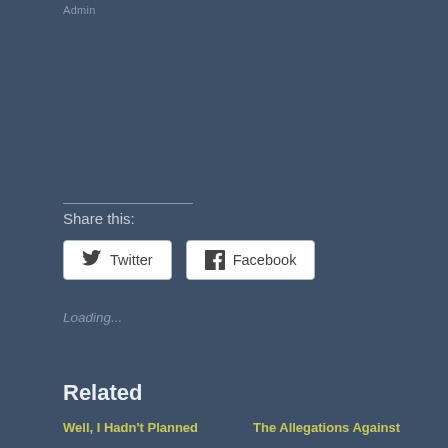Admin
Share this:
[Figure (other): Twitter social share button with bird icon]
[Figure (other): Facebook social share button with F icon]
Loading...
Related
Well, I Hadn't Planned
The Allegations Against